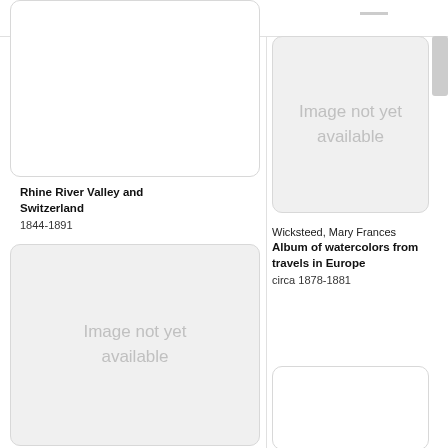YALE CENTER FOR BRITISH ART
<< YCBA HOME
Rhine River Valley and Switzerland
1844-1891
[Figure (other): Image not yet available placeholder (light gray background)]
[Figure (other): Image not yet available placeholder (light gray background)]
Wicksteed, Mary Frances
Album of watercolors from travels in Europe
circa 1878-1881
[Figure (other): Partial card (bottom right), white background with border]